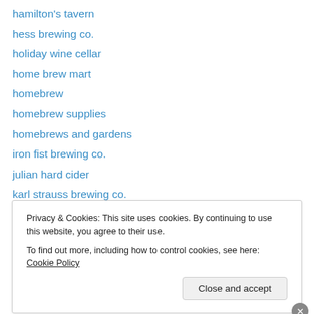hamilton's tavern
hess brewing co.
holiday wine cellar
home brew mart
homebrew
homebrew supplies
homebrews and gardens
iron fist brewing co.
julian hard cider
karl strauss brewing co.
keg-n-bottle
kern river brewing co.
KNB wine cellars
Privacy & Cookies: This site uses cookies. By continuing to use this website, you agree to their use.
To find out more, including how to control cookies, see here: Cookie Policy
Close and accept